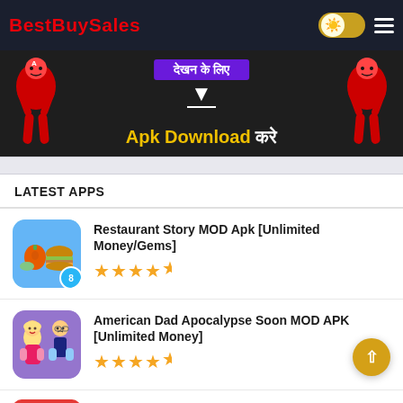BestBuySales
[Figure (screenshot): Promotional banner for APK download with Hindi text and cartoon fighter characters on dark background. Yellow text reads 'Apk Download' with Hindi text 'करे'.]
LATEST APPS
Restaurant Story MOD Apk [Unlimited Money/Gems] — Rating: 4.5 stars
American Dad Apocalypse Soon MOD APK [Unlimited Money] — Rating: 4.5 stars